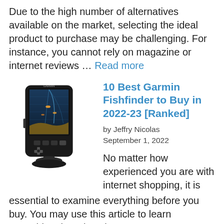Due to the high number of alternatives available on the market, selecting the ideal product to purchase may be challenging. For instance, you cannot rely on magazine or internet reviews … Read more
[Figure (photo): Garmin Fishfinder device — a black handheld GPS/sonar unit with a color display showing sonar readings.]
10 Best Garmin Fishfinder to Buy in 2022-23 [Ranked]
by Jeffry Nicolas
September 1, 2022
No matter how experienced you are with internet shopping, it is essential to examine everything before you buy. You may use this article to learn everything there is to know